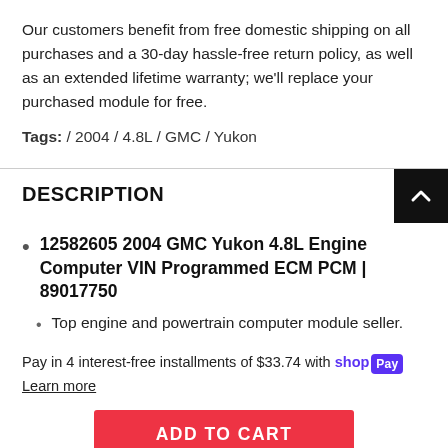Our customers benefit from free domestic shipping on all purchases and a 30-day hassle-free return policy, as well as an extended lifetime warranty; we'll replace your purchased module for free.
Tags: / 2004 / 4.8L / GMC / Yukon
DESCRIPTION
12582605 2004 GMC Yukon 4.8L Engine Computer VIN Programmed ECM PCM | 89017750
Top engine and powertrain computer module seller.
Pay in 4 interest-free installments of $33.74 with shopPay
Learn more